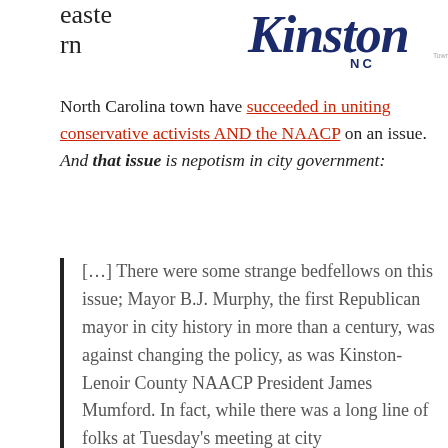[Figure (logo): Kinston NC cursive script logo with 'NC' underneath]
eastern North Carolina town have succeeded in uniting conservative activists AND the NAACP on an issue. And that issue is nepotism in city government:
[…] There were some strange bedfellows on this issue; Mayor B.J. Murphy, the first Republican mayor in city history in more than a century, was against changing the policy, as was Kinston-Lenoir County NAACP President James Mumford. In fact, while there was a long line of folks at Tuesday's meeting at city